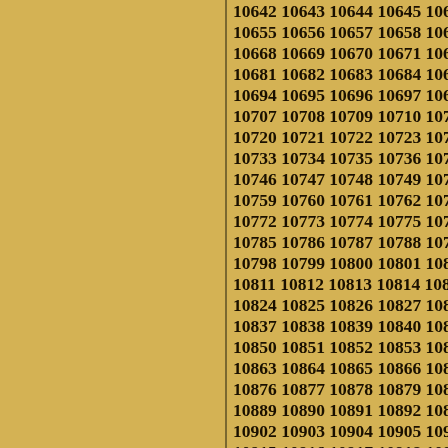10642 10643 10644 10645 10646 10647 10648 10655 10656 10657 10658 10659 10660 10661 10668 10669 10670 10671 10672 10673 10674 10681 10682 10683 10684 10685 10686 10687 10694 10695 10696 10697 10698 10699 10700 10707 10708 10709 10710 10711 10712 10713 10720 10721 10722 10723 10724 10725 10726 10733 10734 10735 10736 10737 10738 10739 10746 10747 10748 10749 10750 10751 10752 10759 10760 10761 10762 10763 10764 10765 10772 10773 10774 10775 10776 10777 10778 10785 10786 10787 10788 10789 10790 10791 10798 10799 10800 10801 10802 10803 10804 10811 10812 10813 10814 10815 10816 10817 10824 10825 10826 10827 10828 10829 10830 10837 10838 10839 10840 10841 10842 10843 10850 10851 10852 10853 10854 10855 10856 10863 10864 10865 10866 10867 10868 10869 10876 10877 10878 10879 10880 10881 10882 10889 10890 10891 10892 10893 10894 10895 10902 10903 10904 10905 10906 10907 10908 10915 10916 10917 10918 10919 10920 10921